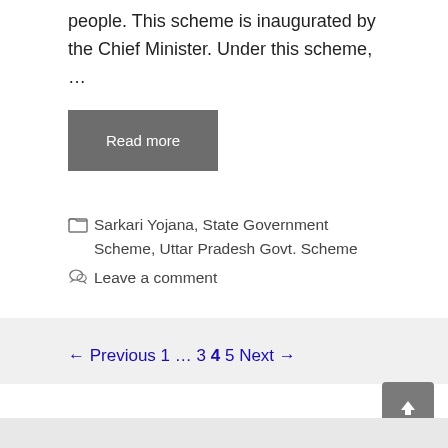people. This scheme is inaugurated by the Chief Minister. Under this scheme, …
Read more
Sarkari Yojana, State Government Scheme, Uttar Pradesh Govt. Scheme
Leave a comment
← Previous 1 … 3 4 5 Next →